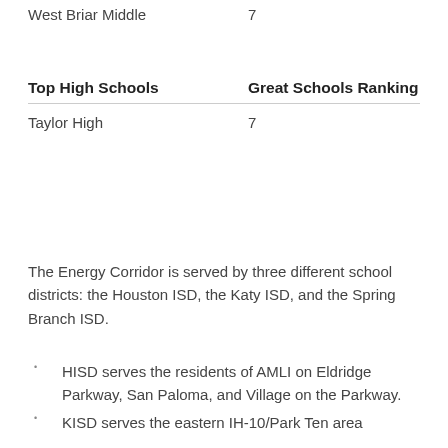|  |  |
| --- | --- |
| West Briar Middle | 7 |
| Top High Schools | Great Schools Ranking |
| --- | --- |
| Taylor High | 7 |
The Energy Corridor is served by three different school districts: the Houston ISD, the Katy ISD, and the Spring Branch ISD.
HISD serves the residents of AMLI on Eldridge Parkway, San Paloma, and Village on the Parkway.
KISD serves the eastern IH-10/Park Ten area